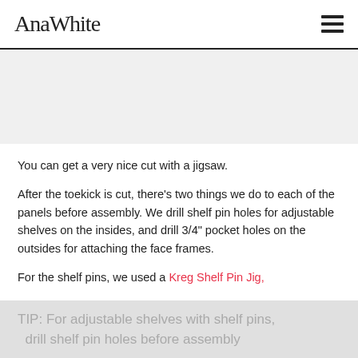AnaWhite
[Figure (photo): Blank/placeholder image area showing a photo that did not load]
You can get a very nice cut with a jigsaw.
After the toekick is cut, there's two things we do to each of the panels before assembly. We drill shelf pin holes for adjustable shelves on the insides, and drill 3/4" pocket holes on the outsides for attaching the face frames.
For the shelf pins, we used a Kreg Shelf Pin Jig,
TIP: For adjustable shelves with shelf pins, drill shelf pin holes before assembly